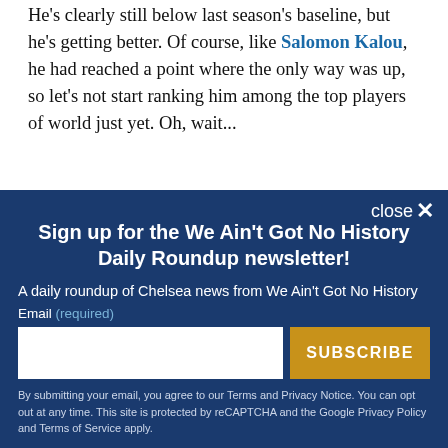He's clearly still below last season's baseline, but he's getting better. Of course, like Salomon Kalou, he had reached a point where the only way was up, so let's not start ranking him among the top players of world just yet. Oh, wait...
Ashley Cole's numbers are getting better in this respect as well. In fact, he's getting closer & closer to
close ✕
Sign up for the We Ain't Got No History Daily Roundup newsletter!
A daily roundup of Chelsea news from We Ain't Got No History
Email (required)
SUBSCRIBE
By submitting your email, you agree to our Terms and Privacy Notice. You can opt out at any time. This site is protected by reCAPTCHA and the Google Privacy Policy and Terms of Service apply.